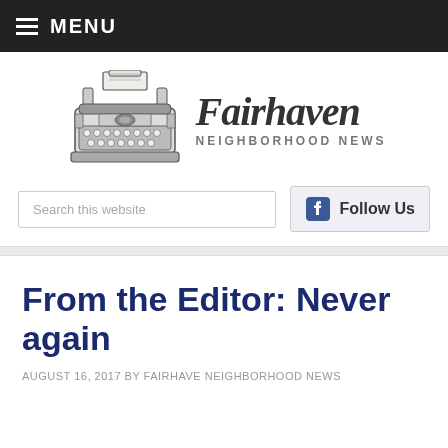MENU
[Figure (logo): Fairhaven Neighborhood News logo with typewriter illustration and stylized blackletter text]
Search this website
Follow Us
From the Editor: Never again
AUGUST 16, 2017 BY FAIRHAVE NEIGHBORHOOD NEWS